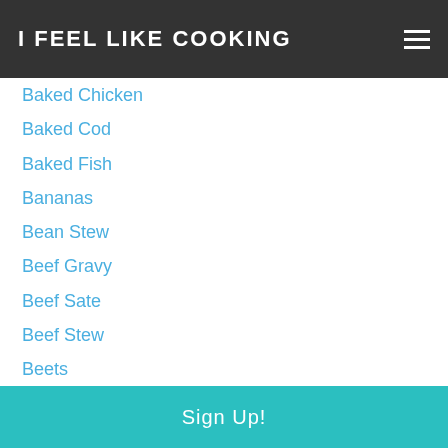I FEEL LIKE COOKING
Baked Chicken
Baked Cod
Baked Fish
Bananas
Bean Stew
Beef Gravy
Beef Sate
Beef Stew
Beets
Bing Cherry Cookies
Biscuits
Black Beans
Blackberries
Blueberries
Blueberry Muffins
Sign Up!